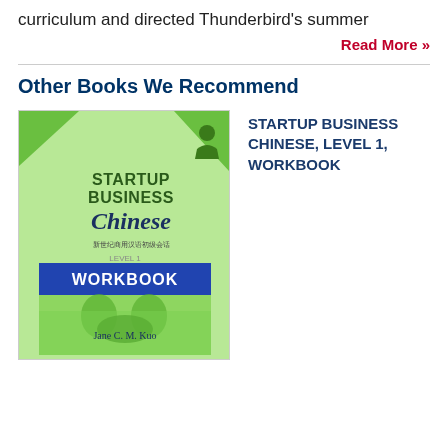curriculum and directed Thunderbird's summer
Read More »
Other Books We Recommend
[Figure (photo): Book cover of Startup Business Chinese, Level 1, Workbook by Jane C. M. Kuo. Green cover with businesspeople shaking hands, blue WORKBOOK banner, and green decorative corner elements.]
STARTUP BUSINESS CHINESE, LEVEL 1, WORKBOOK